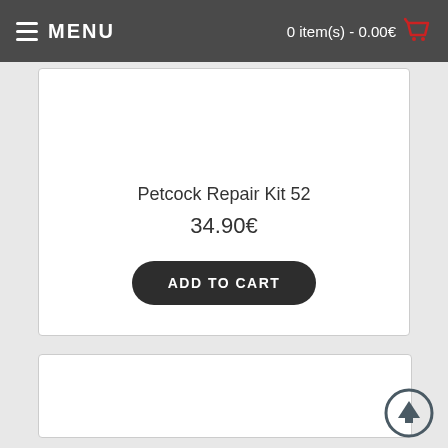MENU   0 item(s) - 0.00€
Petcock Repair Kit 52
34.90€
ADD TO CART
[Figure (other): Empty white product card placeholder]
[Figure (other): Scroll to top circular button with upward arrow]